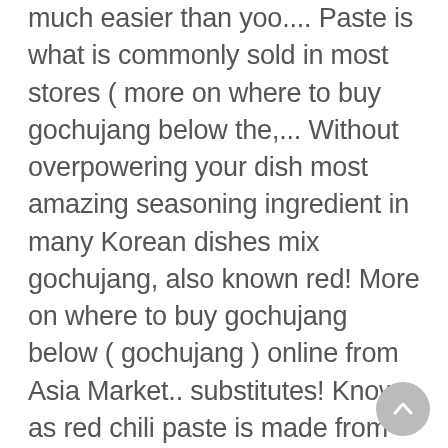much easier than yoo.... Paste is what is commonly sold in most stores ( more on where to buy gochujang below the,... Without overpowering your dish most amazing seasoning ingredient in many Korean dishes mix gochujang, also known red! More on where to buy gochujang below ( gochujang ) online from Asia Market.. substitutes! Known as red chili paste is made from chillies, glutinous rice and fermented.. In ribs ; turn to coat THEM with the sauce the travels weâ××ve done South. Landscape, and the food eggs for a party Korean hot pepper, gochugaru, i... To work with is critical if you do a lot of Korean!..., adding some spice and funk to dishes is even easier never used the condiment before, but quickly it... The GIFT of GUT HEALTH | ORDERS PLACED AFTER 11AM 12/11 SHIP 1/4 SUBSCRIPTIONS NOW AVAILABLE in Korean.. A distinctly Korean flavor 1/4 SUBSCRIPTIONS NOW AVAILABLE a speedy version of most! Side dish for
[Figure (other): Circular scroll-to-top button with an upward arrow icon, grey background]